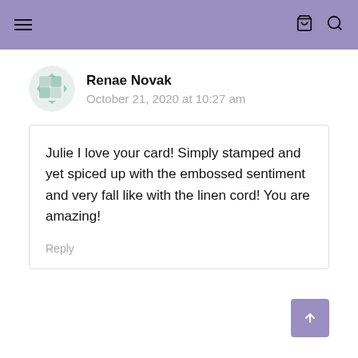Navigation header with menu, cart, and search icons
Renae Novak
October 21, 2020 at 10:27 am
Julie I love your card! Simply stamped and yet spiced up with the embossed sentiment and very fall like with the linen cord! You are amazing!
Reply